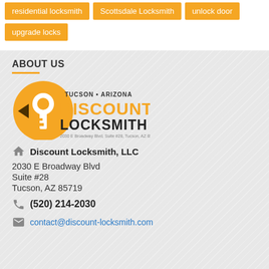residential locksmith
Scottsdale Locksmith
unlock door
upgrade locks
ABOUT US
[Figure (logo): Discount Locksmith LLC logo with orange key icon and text 'TUCSON • ARIZONA DISCOUNT LOCKSMITH' and address '2030 E Broadway Blvd, Suite #28, Tucson, AZ 85719']
Discount Locksmith, LLC
2030 E Broadway Blvd
Suite #28
Tucson, AZ 85719
(520) 214-2030
contact@discount-locksmith.com